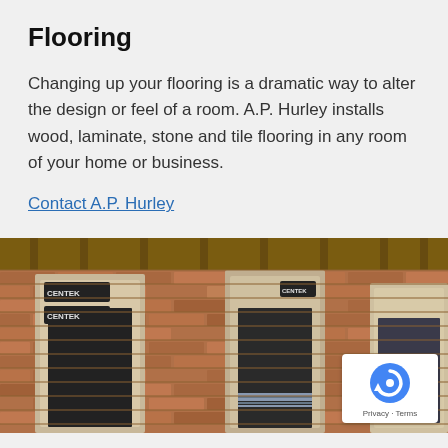Flooring
Changing up your flooring is a dramatic way to alter the design or feel of a room. A.P. Hurley installs wood, laminate, stone and tile flooring in any room of your home or business.
Contact A.P. Hurley
[Figure (photo): Exterior brick building with multiple windows and door frames featuring Centek brand signage, viewed from outside under a wooden roof overhang.]